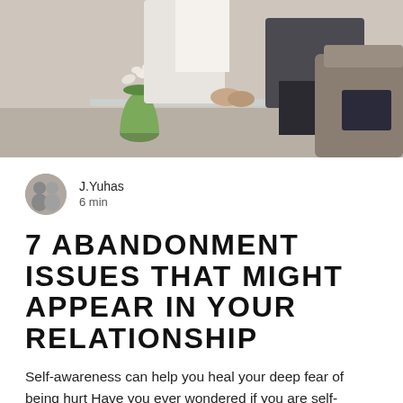[Figure (photo): Two people sitting across from each other, a green glass vase with white flowers on a coffee table, counseling or meeting setting]
J.Yuhas
6 min
7 ABANDONMENT ISSUES THAT MIGHT APPEAR IN YOUR RELATIONSHIP
Self-awareness can help you heal your deep fear of being hurt Have you ever wondered if you are self-sabotaging your relationship? This can be challenging to accept knowing how much you love your partner. At the same time, you may not even be aware you